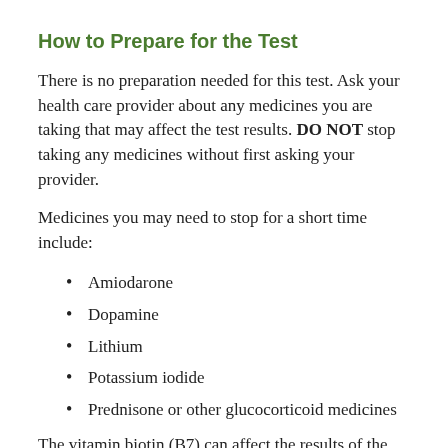How to Prepare for the Test
There is no preparation needed for this test. Ask your health care provider about any medicines you are taking that may affect the test results. DO NOT stop taking any medicines without first asking your provider.
Medicines you may need to stop for a short time include:
Amiodarone
Dopamine
Lithium
Potassium iodide
Prednisone or other glucocorticoid medicines
The vitamin biotin (B7) can affect the results of the TSH